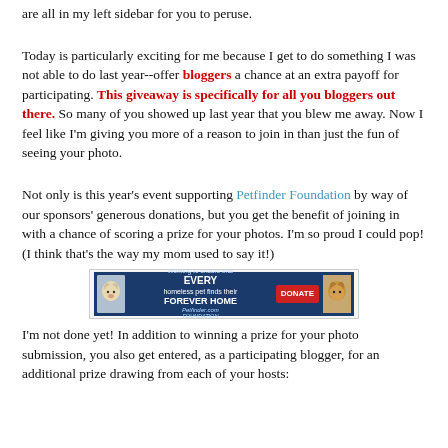are all in my left sidebar for you to peruse.
Today is particularly exciting for me because I get to do something I was not able to do last year--offer bloggers a chance at an extra payoff for participating. This giveaway is specifically for all you bloggers out there. So many of you showed up last year that you blew me away. Now I feel like I'm giving you more of a reason to join in than just the fun of seeing your photo.
Not only is this year's event supporting Petfinder Foundation by way of our sponsors' generous donations, but you get the benefit of joining in with a chance of scoring a prize for your photos. I'm so proud I could pop! (I think that's the way my mom used to say it!)
[Figure (infographic): Petfinder Foundation banner ad: Working to ensure that EVERY homeless pet finds their FOREVER HOME, with DONATE button, dog images on each side]
I'm not done yet! In addition to winning a prize for your photo submission, you also get entered, as a participating blogger, for an additional prize drawing from each of your hosts: